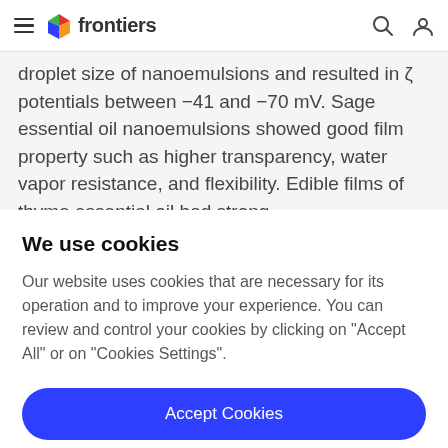frontiers
droplet size of nanoemulsions and resulted in ζ potentials between −41 and −70 mV. Sage essential oil nanoemulsions showed good film property such as higher transparency, water vapor resistance, and flexibility. Edible films of thyme essential oil had strong
We use cookies
Our website uses cookies that are necessary for its operation and to improve your experience. You can review and control your cookies by clicking on "Accept All" or on "Cookies Settings".
Accept Cookies
Cookies Settings